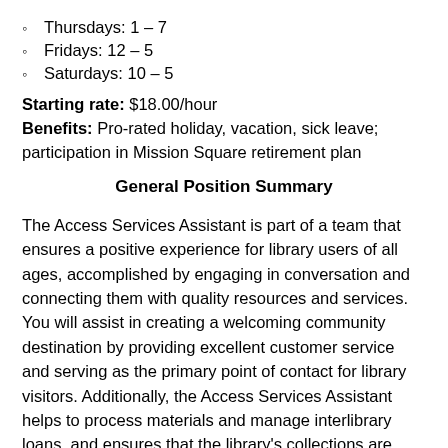Thursdays: 1 – 7
Fridays: 12 – 5
Saturdays: 10 – 5
Starting rate: $18.00/hour
Benefits: Pro-rated holiday, vacation, sick leave; participation in Mission Square retirement plan
General Position Summary
The Access Services Assistant is part of a team that ensures a positive experience for library users of all ages, accomplished by engaging in conversation and connecting them with quality resources and services. You will assist in creating a welcoming community destination by providing excellent customer service and serving as the primary point of contact for library visitors. Additionally, the Access Services Assistant helps to process materials and manage interlibrary loans, and ensures that the library's collections are